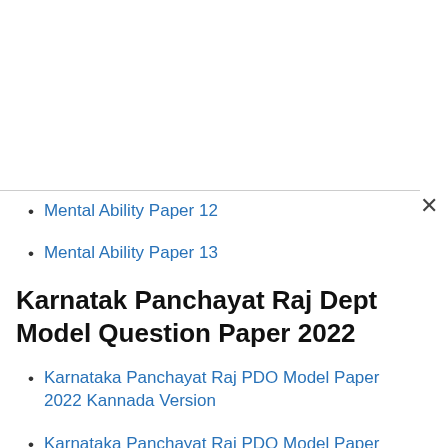Mental Ability Paper 12
Mental Ability Paper 13
Karnatak Panchayat Raj Dept Model Question Paper 2022
Karnataka Panchayat Raj PDO Model Paper 2022 Kannada Version
Karnataka Panchayat Raj PDO Model Paper 2022 English Version
Karnataka Panchayat Raj Model Paper